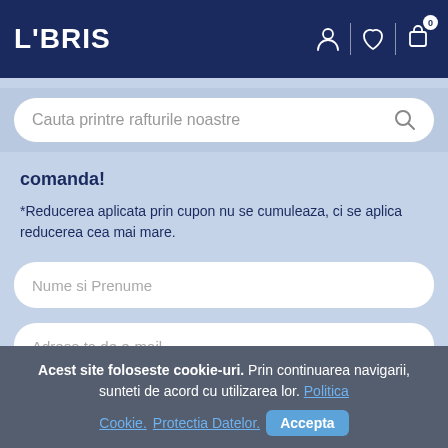LIBRIS
[Figure (screenshot): Search bar with placeholder text 'Cauta printre rafturile noastre' and a search icon]
comanda!
*Reducerea aplicata prin cupon nu se cumuleaza, ci se aplica reducerea cea mai mare.
Nume si Prenume
Adresa ta de e-mail
Ma abonez
Acest site foloseste cookie-uri. Prin continuarea navigarii, sunteti de acord cu utilizarea lor. Politica Cookie. Protectia Datelor.
Accepta